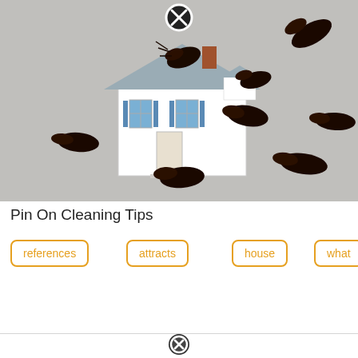[Figure (photo): Photo of a miniature white house model with blue shutters surrounded by multiple large cockroaches on a gray background. A close/delete button (circle with X) appears at the top center of the image.]
Pin On Cleaning Tips
references
attracts
house
what